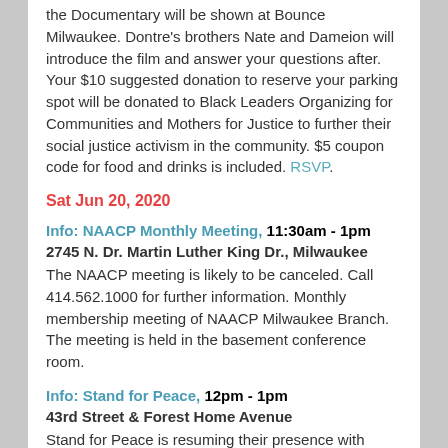the Documentary will be shown at Bounce Milwaukee. Dontre's brothers Nate and Dameion will introduce the film and answer your questions after. Your $10 suggested donation to reserve your parking spot will be donated to Black Leaders Organizing for Communities and Mothers for Justice to further their social justice activism in the community. $5 coupon code for food and drinks is included. RSVP.
Sat Jun 20, 2020
Info: NAACP Monthly Meeting, 11:30am - 1pm
2745 N. Dr. Martin Luther King Dr., Milwaukee
The NAACP meeting is likely to be canceled. Call 414.562.1000 for further information. Monthly membership meeting of NAACP Milwaukee Branch. The meeting is held in the basement conference room.
Info: Stand for Peace, 12pm - 1pm
43rd Street & Forest Home Avenue
Stand for Peace is resuming their presence with careful precautions (more information on this). Stand for peace in the streets of Milwaukee, every Saturday at noon.